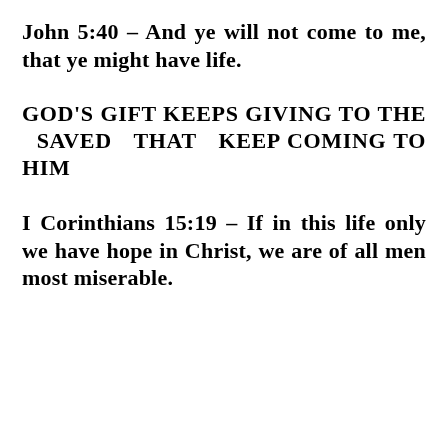John 5:40 – And ye will not come to me, that ye might have life.
GOD'S GIFT KEEPS GIVING TO THE SAVED THAT KEEP COMING TO HIM
I Corinthians 15:19 – If in this life only we have hope in Christ, we are of all men most miserable.